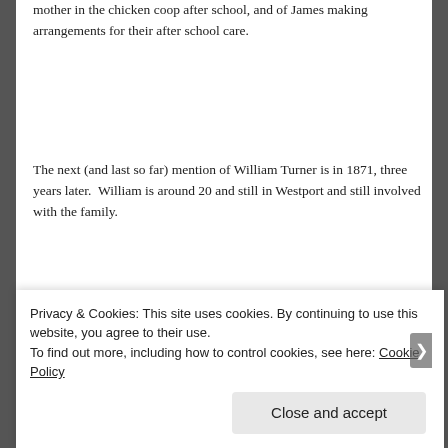mother in the chicken coop after school, and of James making arrangements for their after school care.
The next (and last so far) mention of William Turner is in 1871, three years later.  William is around 20 and still in Westport and still involved with the family.
[Figure (infographic): Blue advertisement banner with text 'Love working again.' and an 'Apply' button]
Privacy & Cookies: This site uses cookies. By continuing to use this website, you agree to their use.
To find out more, including how to control cookies, see here: Cookie Policy

Close and accept